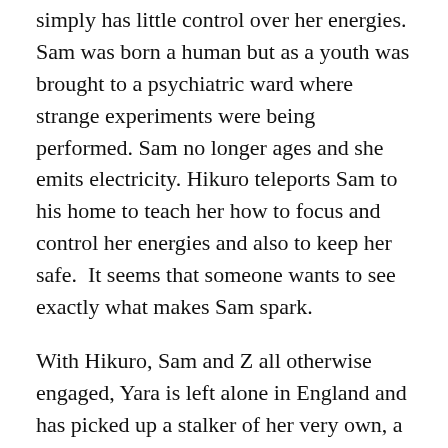simply has little control over her energies. Sam was born a human but as a youth was brought to a psychiatric ward where strange experiments were being performed. Sam no longer ages and she emits electricity. Hikuro teleports Sam to his home to teach her how to focus and control her energies and also to keep her safe.  It seems that someone wants to see exactly what makes Sam spark.
With Hikuro, Sam and Z all otherwise engaged, Yara is left alone in England and has picked up a stalker of her very own, a wolf shifter who has been blackmailed into killing the Vampire King and Yara is his best lead to track down the elusive Tardieh.
THOUGHTS:
Now that the basic character introductions have been made and the world building laid out, we start focusing on the investigation and fleshing out our